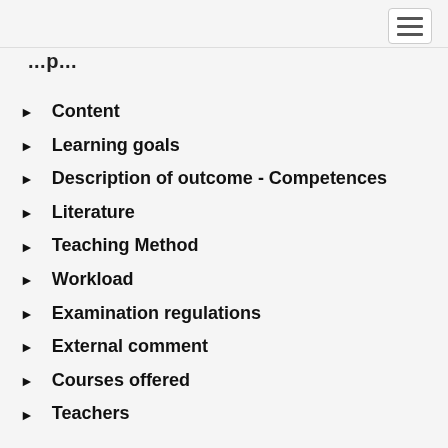Content
Learning goals
Description of outcome - Competences
Literature
Teaching Method
Workload
Examination regulations
External comment
Courses offered
Teachers